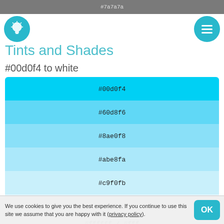#7a7a7a
Tints and Shades
#00d0f4 to white
| Color Swatch |
| --- |
| #00d0f4 |
| #60d8f6 |
| #8ae0f8 |
| #abe8fa |
| #c9f0fb |
| #e5f7fd |
#ffffff / #fff
#00d0f4 to black
We use cookies to give you the best experience. If you continue to use this site we assume that you are happy with it (privacy policy).